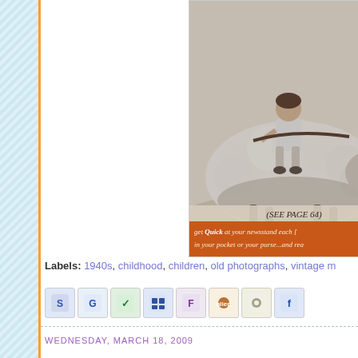[Figure (photo): Vintage black and white photograph of a child riding on a sheep's back, cropped so only the right portion is visible. Below the image is an orange banner with text '(SEE PAGE 64)' and italic advertising copy 'get Quick at your newsstand each [week], in your pocket or your purse...and rea[d]']
Labels: 1940s, childhood, children, old photographs, vintage m...
[Figure (infographic): Row of 8 social sharing icon buttons: StumbleUpon (S), Google (G), Newsvine (leaf), Delicious (del), Furl (F), Reddit (alien), Magnolia, Facebook (f)]
WEDNESDAY, MARCH 18, 2009